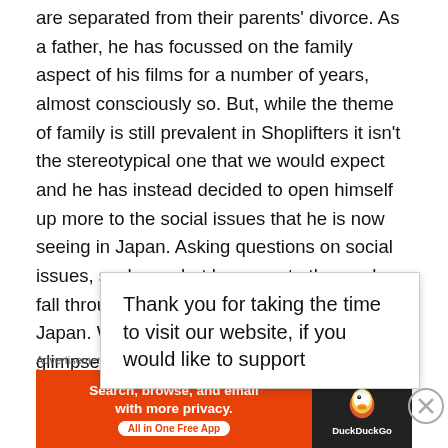are separated from their parents' divorce. As a father, he has focussed on the family aspect of his films for a number of years, almost consciously so. But, while the theme of family is still prevalent in Shoplifters it isn't the stereotypical one that we would expect and he has instead decided to open himself up more to the social issues that he is now seeing in Japan. Asking questions on social issues, such as what happens to those who fall through the cracks of the system in Japan. We are given a glimpse [obscured] ely get to see [obscured] irely release [obscured] da stating [obscured] erencing
Thank you for taking the time to visit our website, if you would like to support
Advertisements
[Figure (other): DuckDuckGo advertisement banner: orange left panel with text 'Search, browse, and email with more privacy. All in One Free App' and dark right panel with DuckDuckGo logo and brand name.]